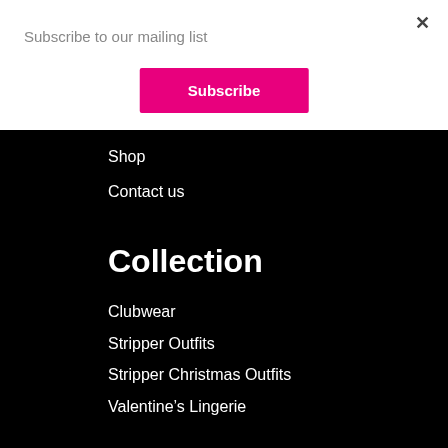Subscribe to our mailing list
×
Subscribe
Shop
Contact us
Collection
Clubwear
Stripper Outfits
Stripper Christmas Outfits
Valentine's Lingerie